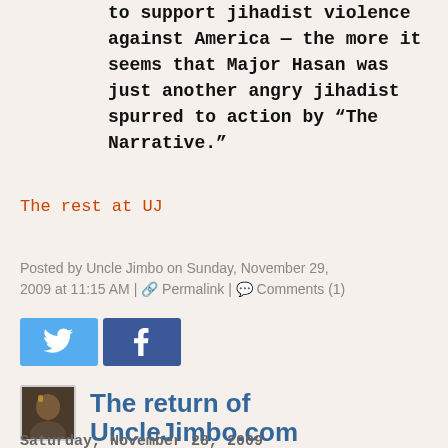to support jihadist violence against America — the more it seems that Major Hasan was just another angry jihadist spurred to action by “The Narrative.”
The rest at UJ
Posted by Uncle Jimbo on Sunday, November 29, 2009 at 11:15 AM | Permalink | Comments (1)
[Figure (other): Twitter and Facebook social sharing buttons]
[Figure (photo): Avatar thumbnail photo of Uncle Jimbo]
The return of UncleJimbo.com
Saturday, November 28, 2009